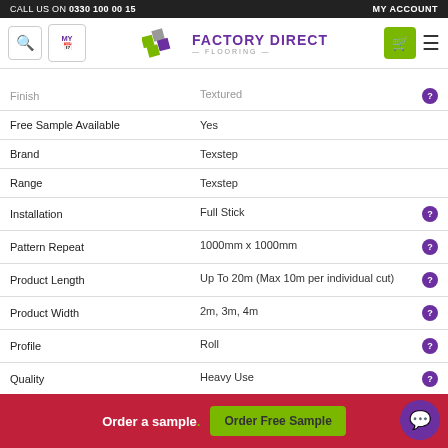CALL US ON 0330 100 00 15 | MY ACCOUNT
[Figure (logo): Factory Direct Flooring logo with colorful tile pattern]
| Attribute | Value |
| --- | --- |
| Finish | Textured |
| Free Sample Available | Yes |
| Brand | Texstep |
| Range | Texstep |
| Installation | Full Stick |
| Pattern Repeat | 1000mm x 1000mm |
| Product Length | Up To 20m (Max 10m per individual cut) |
| Product Width | 2m, 3m, 4m |
| Profile | Roll |
| Quality | Heavy Use |
| Slip Rating | R10 |
Order a sample. | Order Free Sample